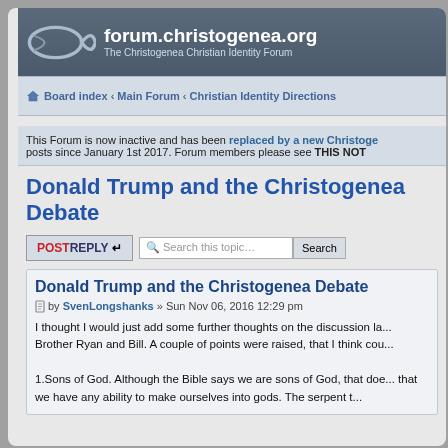forum.christogenea.org — The Christogenea Christian Identity Forum
Board index ‹ Main Forum ‹ Christian Identity Directions
This Forum is now inactive and has been replaced by a new Christoge... posts since January 1st 2017. Forum members please see THIS NOT...
Donald Trump and the Christogenea Debate
POSTREPLY   Search this topic…   Search
Donald Trump and the Christogenea Debate
by SvenLongshanks » Sun Nov 06, 2016 12:29 pm
I thought I would just add some further thoughts on the discussion la... Brother Ryan and Bill. A couple of points were raised, that I think cou...
1.Sons of God. Although the Bible says we are sons of God, that doe... that we have any ability to make ourselves into gods. The serpent t...